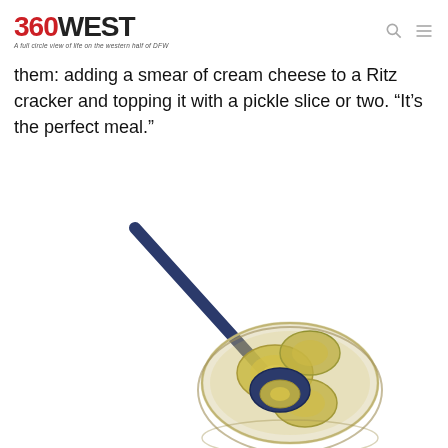360WEST — A full circle view of life on the western half of DFW
them: adding a smear of cream cheese to a Ritz cracker and topping it with a pickle slice or two. “It’s the perfect meal.”
[Figure (photo): A glass jar of pickle slices with a dark navy blue spoon resting in it, viewed from above against a white background.]